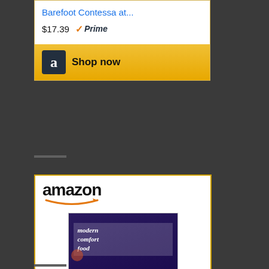[Figure (screenshot): Amazon ad card (partial) for 'Barefoot Contessa at...' priced at $17.39 with Prime badge and Shop now button]
[Figure (screenshot): Amazon ad card for 'Modern Comfort Food: A...' priced at $18.78 with Prime badge, book cover image, and Shop now button]